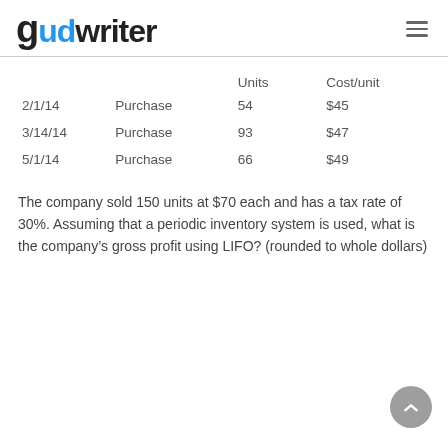gudwriter
|  | Units | Cost/unit |
| --- | --- | --- |
| 2/1/14 | Purchase | 54 | $45 |
| 3/14/14 | Purchase | 93 | $47 |
| 5/1/14 | Purchase | 66 | $49 |
The company sold 150 units at $70 each and has a tax rate of 30%. Assuming that a periodic inventory system is used, what is the company’s gross profit using LIFO? (rounded to whole dollars)